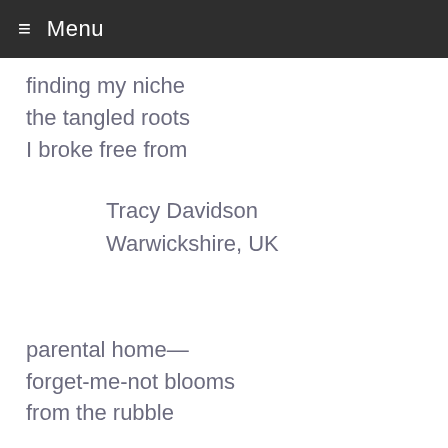≡ Menu
finding my niche
the tangled roots
I broke free from
Tracy Davidson
Warwickshire, UK
parental home—
forget-me-not blooms
from the rubble
Arvinder Kaur
Chandigarh, India